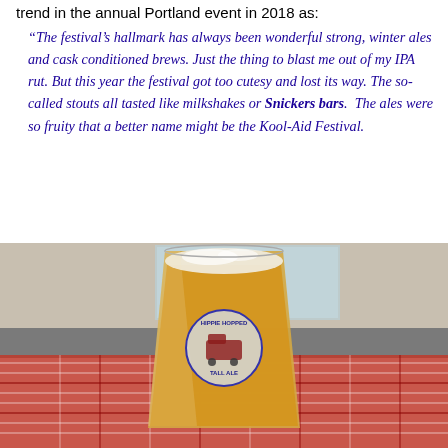trend in the annual Portland event in 2018 as:
“The festival’s hallmark has always been wonderful strong, winter ales and cask conditioned brews. Just the thing to blast me out of my IPA rut. But this year the festival got too cutesy and lost its way. The so-called stouts all tasted like milkshakes or Snickers bars. The ales were so fruity that a better name might be the Kool-Aid Festival.
[Figure (photo): A plastic cup of amber/golden beer with a 'Hippie Hopped Tall Ale' logo showing a VW bus, sitting on a red plaid tablecloth in front of a gray wall.]